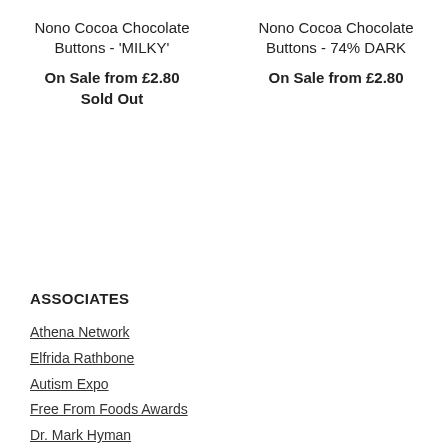Nono Cocoa Chocolate Buttons - 'MILKY'
On Sale from £2.80
Sold Out
Nono Cocoa Chocolate Buttons - 74% DARK
On Sale from £2.80
ASSOCIATES
Athena Network
Elfrida Rathbone
Autism Expo
Free From Foods Awards
Dr. Mark Hyman
Michael Gapes MBE